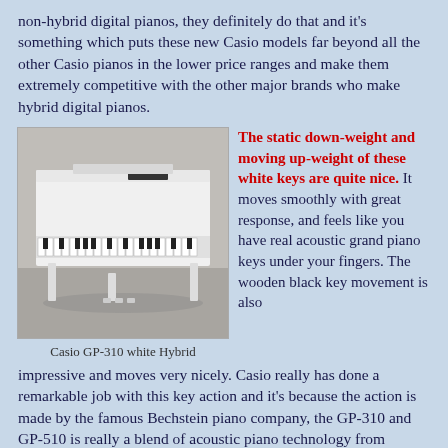non-hybrid digital pianos, they definitely do that and it's something which puts these new Casio models far beyond all the other Casio pianos in the lower price ranges and make them extremely competitive with the other major brands who make hybrid digital pianos.
[Figure (photo): Photo of a white Casio GP-310 Hybrid digital piano on a stand, viewed from the front-right angle.]
Casio GP-310 white Hybrid
The static down-weight and moving up-weight of these white keys are quite nice. It moves smoothly with great response, and feels like you have real acoustic grand piano keys under your fingers. The wooden black key movement is also impressive and moves very nicely. Casio really has done a remarkable job with this key action and it's because the action is made by the famous Bechstein piano company, the GP-310 and GP-510 is really a blend of acoustic piano technology from Germany and Casio electronic technology of Japan.